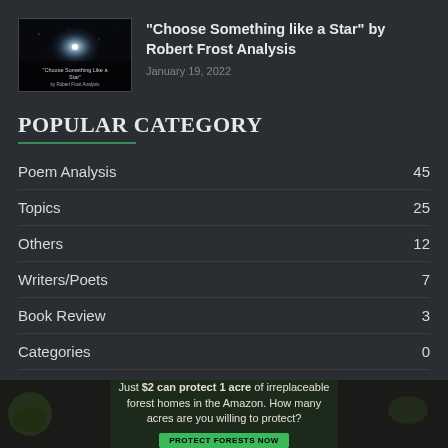[Figure (photo): Thumbnail image for article about Choose Something like a Star by Robert Frost Analysis — dark background with a bright star and text overlay]
“Choose Something like a Star” by Robert Frost Analysis
January 19, 2022
POPULAR CATEGORY
Poem Analysis  45
Topics  25
Others  12
Writers/Poets  7
Book Review  3
Categories  0
[Figure (photo): Advertisement banner: Just $2 can protect 1 acre of irreplaceable forest homes in the Amazon. How many acres are you willing to protect? PROTECT FORESTS NOW]